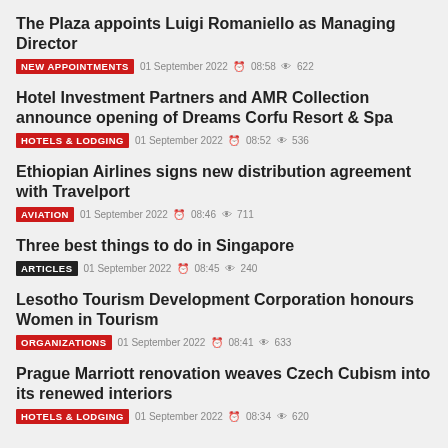The Plaza appoints Luigi Romaniello as Managing Director
NEW APPOINTMENTS  01 September 2022  08:58  622
Hotel Investment Partners and AMR Collection announce opening of Dreams Corfu Resort & Spa
HOTELS & LODGING  01 September 2022  08:52  536
Ethiopian Airlines signs new distribution agreement with Travelport
AVIATION  01 September 2022  08:46  711
Three best things to do in Singapore
ARTICLES  01 September 2022  08:45  240
Lesotho Tourism Development Corporation honours Women in Tourism
ORGANIZATIONS  01 September 2022  08:41  633
Prague Marriott renovation weaves Czech Cubism into its renewed interiors
HOTELS & LODGING  01 September 2022  08:34  620